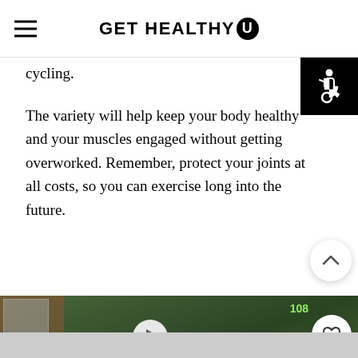GET HEALTHY U
cycling.
The variety will help keep your body healthy and your muscles engaged without getting overworked. Remember, protect your joints at all costs, so you can exercise long into the future.
[Figure (screenshot): Video thumbnail for 'No Squat No Lunge Booty Workout' showing a woman with arms raised outdoors surrounded by trees, with play button overlay and UI controls including heart (108 likes) and search buttons.]